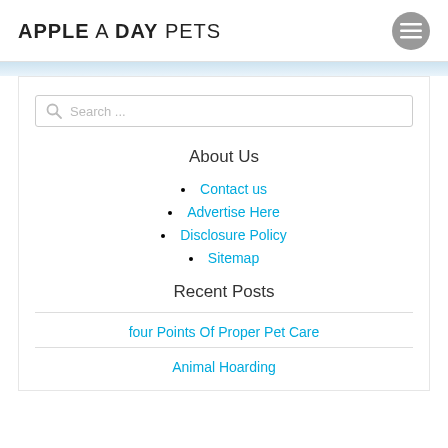APPLE A DAY PETS
[Figure (other): Hamburger menu icon button (three horizontal lines) in a circular grey button]
[Figure (other): Search bar with magnifying glass icon and placeholder text 'Search ...']
About Us
Contact us
Advertise Here
Disclosure Policy
Sitemap
Recent Posts
four Points Of Proper Pet Care
Animal Hoarding